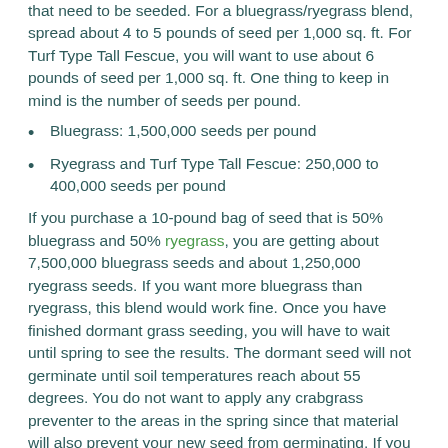that need to be seeded. For a bluegrass/ryegrass blend, spread about 4 to 5 pounds of seed per 1,000 sq. ft. For Turf Type Tall Fescue, you will want to use about 6 pounds of seed per 1,000 sq. ft. One thing to keep in mind is the number of seeds per pound.
Bluegrass: 1,500,000 seeds per pound
Ryegrass and Turf Type Tall Fescue: 250,000 to 400,000 seeds per pound
If you purchase a 10-pound bag of seed that is 50% bluegrass and 50% ryegrass, you are getting about 7,500,000 bluegrass seeds and about 1,250,000 ryegrass seeds. If you want more bluegrass than ryegrass, this blend would work fine. Once you have finished dormant grass seeding, you will have to wait until spring to see the results. The dormant seed will not germinate until soil temperatures reach about 55 degrees. You do not want to apply any crabgrass preventer to the areas in the spring since that material will also prevent your new seed from germinating. If you do get crabgrass, you may have to hand-pull it next summer. The same is true with broadleaf